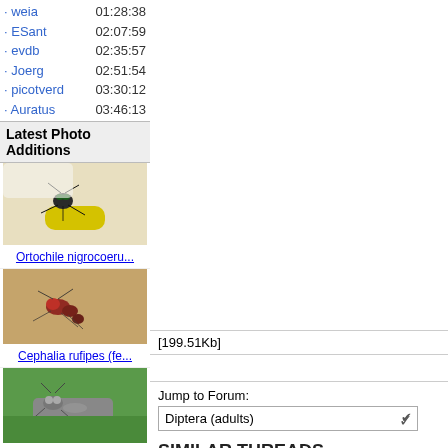· weia  01:28:38
· ESant  02:07:59
· evdb  02:35:57
· Joerg  02:51:54
· picotverd  03:30:12
· Auratus  03:46:13
Latest Photo Additions
[Figure (photo): Ortochile nigrocoeru... - insect on yellow flower]
Ortochile nigrocoeru...
[Figure (photo): Cephalia rufipes (fe... - red ant on sandy ground]
Cephalia rufipes (fe...
[Figure (photo): Euthycera cribrata (... - speckled fly on green leaf]
Euthycera cribrata (...
[199.51Kb]
Jump to Forum:
Diptera (adults)
SIMILAR THREADS
| Thread |
| --- |
| Tachinid from 05.09.22 |
| Rather big Tachinid from 03.09.22 --> Dinera ferina (f) |